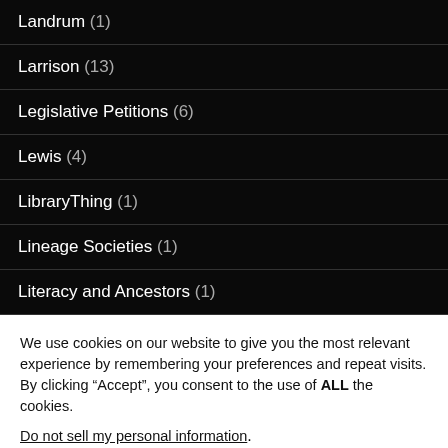Landrum (1)
Larrison (13)
Legislative Petitions (6)
Lewis (4)
LibraryThing (1)
Lineage Societies (1)
Literacy and Ancestors (1)
We use cookies on our website to give you the most relevant experience by remembering your preferences and repeat visits. By clicking “Accept”, you consent to the use of ALL the cookies.
Do not sell my personal information.
Cookie settings  ACCEPT